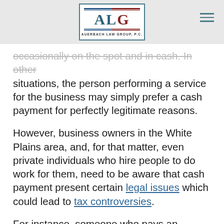[Figure (logo): Auerbach Law Group P.C. logo with ALG initials in teal/maroon colors, double border lines]
occasionally on the spot and in cash. In other situations, the person performing a service for the business may simply prefer a cash payment for perfectly legitimate reasons.
However, business owners in the White Plains area, and, for that matter, even private individuals who hire people to do work for them, need to be aware that cash payment present certain legal issues which could lead to tax controversies.
For instance, someone who pays an